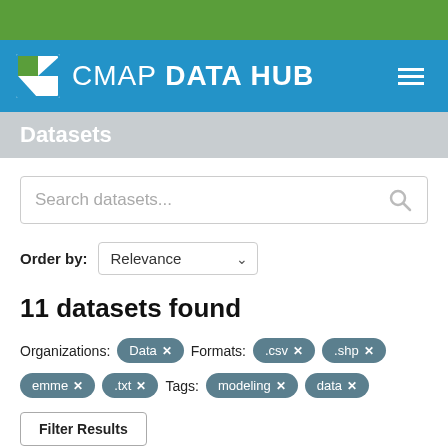CMAP DATA HUB
Datasets
Search datasets...
Order by: Relevance
11 datasets found
Organizations: Data  Formats: .csv  .shp  emme  .txt  Tags: modeling  data
Filter Results